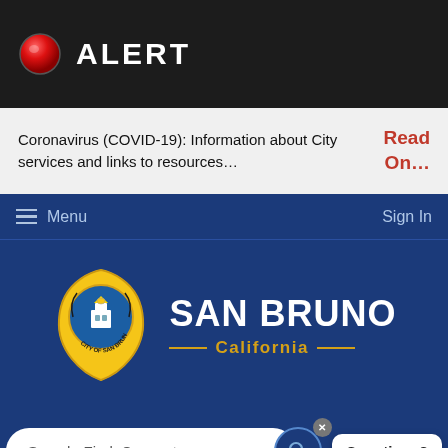🔴 ALERT
Coronavirus (COVID-19): Information about City services and links to resources…  Read On…
Menu  Sign In
[Figure (logo): City of San Bruno California seal/logo — shield shape, yellow and blue, with bell tower building inside, surrounded by laurel wreath, text CITY OF SAN BRUNO at bottom]
SAN BRUNO California
Search, Find, Connect
Questions?
Select Language ▾